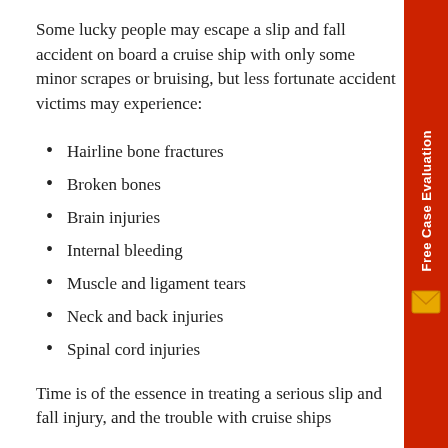Some lucky people may escape a slip and fall accident on board a cruise ship with only some minor scrapes or bruising, but less fortunate accident victims may experience:
Hairline bone fractures
Broken bones
Brain injuries
Internal bleeding
Muscle and ligament tears
Neck and back injuries
Spinal cord injuries
Time is of the essence in treating a serious slip and fall injury, and the trouble with cruise ships